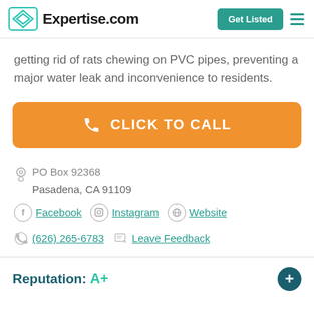Expertise.com | Get Listed
getting rid of rats chewing on PVC pipes, preventing a major water leak and inconvenience to residents.
[Figure (screenshot): Orange 'CLICK TO CALL' button with phone icon]
PO Box 92368
Pasadena, CA 91109
Facebook  Instagram  Website
(626) 265-6783  Leave Feedback
Reputation: A+